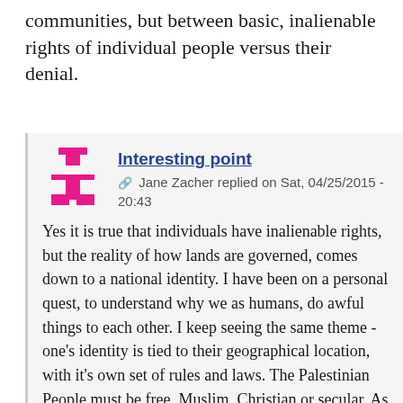communities, but between basic, inalienable rights of individual people versus their denial.
Interesting point
Jane Zacher replied on Sat, 04/25/2015 - 20:43
Yes it is true that individuals have inalienable rights, but the reality of how lands are governed, comes down to a national identity. I have been on a personal quest, to understand why we as humans, do awful things to each other. I keep seeing the same theme - one's identity is tied to their geographical location, with it's own set of rules and laws. The Palestinian People must be free, Muslim, Christian or secular. As a Jew opposed to Zionism and Israel, the Palestinian people need to be completely free of any outside interference. The Germans fought till the end